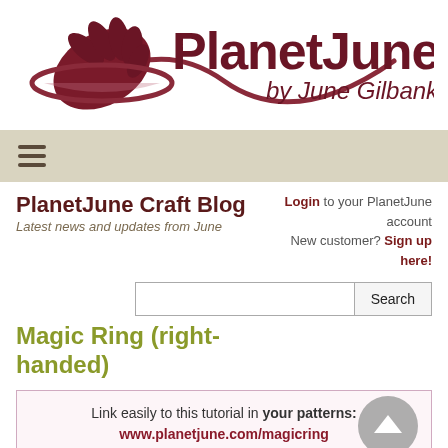[Figure (logo): PlanetJune logo with dark red fern/leaf motif and swirling line, text reads 'PlanetJune by June Gilbank']
≡ (hamburger menu icon navigation bar)
PlanetJune Craft Blog
Latest news and updates from June
Login to your PlanetJune account
New customer? Sign up here!
Search
Magic Ring (right-handed)
Link easily to this tutorial in your patterns:
www.planetjune.com/magicring
Looking for the left-handed instructions? Or the video tutorial? If not, read on…